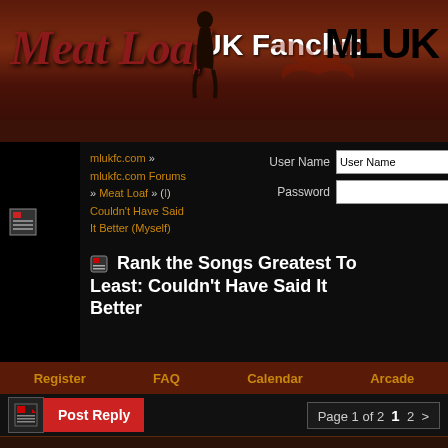[Figure (logo): Meat Loaf UK Fanclub banner with red/brown background, gothic text 'Meat Loaf', white text 'UK Fanclub', and MLUK logo on right with bat silhouette]
mlukfc.com » mlukfc.com Forums » Meat Loaf » (I) Couldn't Have Said It Better (Myself)
Rank the Songs Greatest To Least: Couldn't Have Said It Better
User Name  [User Name field]  [checkbox] Remember Me?
Password  [password field]  [Log in button]
Register   FAQ   Calendar   Arcade
Post Reply   Page 1 of 2   1   2   >
Thread Tools
07 Sep 2010, 02:06   #1
Elijah's way
Soul Auctioneer
★★★★★
Rank the Songs Greatest To Least: Couldn't Have Said It Better